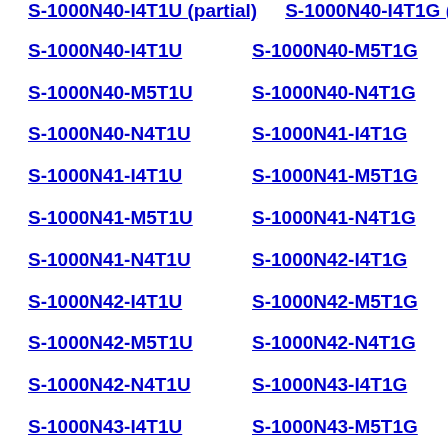S-1000N40-I4T1G
S-1000N40-I4T1U
S-1000N40-M5T1G
S-1000N40-M5T1U
S-1000N40-N4T1G
S-1000N40-N4T1U
S-1000N41-I4T1G
S-1000N41-I4T1U
S-1000N41-M5T1G
S-1000N41-M5T1U
S-1000N41-N4T1G
S-1000N41-N4T1U
S-1000N42-I4T1G
S-1000N42-I4T1U
S-1000N42-M5T1G
S-1000N42-M5T1U
S-1000N42-N4T1G
S-1000N42-N4T1U
S-1000N43-I4T1G
S-1000N43-I4T1U
S-1000N43-M5T1G